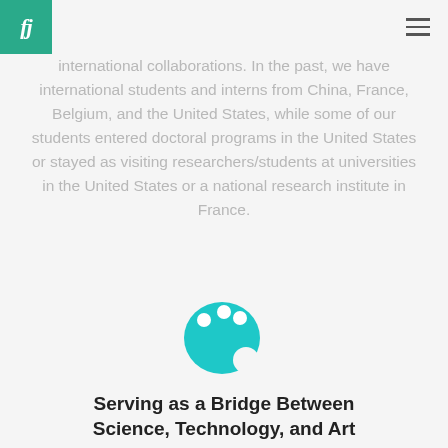fj [logo] [hamburger menu]
international collaborations. In the past, we have international students and interns from China, France, Belgium, and the United States, while some of our students entered doctoral programs in the United States or stayed as visiting researchers/students at universities in the United States or a national research institute in France.
[Figure (illustration): Teal/cyan artist palette icon with paint dots]
Serving as a Bridge Between Science, Technology, and Art